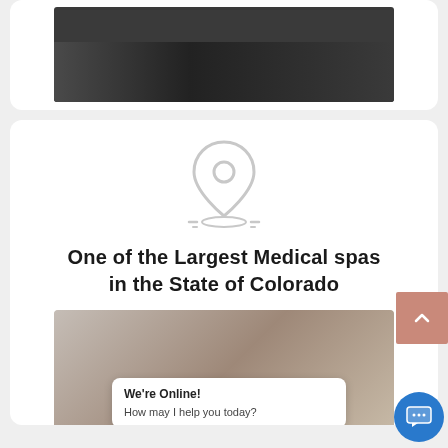[Figure (photo): Group photo of medical spa staff in white coats standing together]
[Figure (illustration): Location pin / map marker icon in light gray outline style]
One of the Largest Medical spas in the State of Colorado
[Figure (photo): Group of female staff members smiling and laughing in a medical spa setting]
We're Online! How may I help you today?